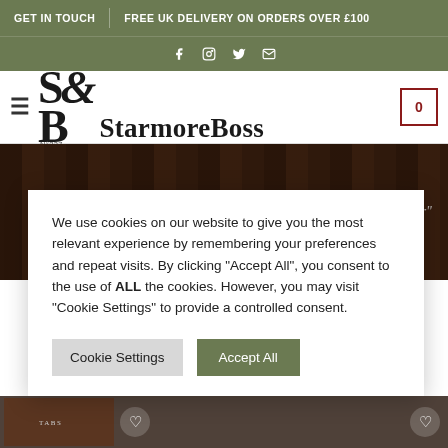GET IN TOUCH | FREE UK DELIVERY ON ORDERS OVER £100
[Figure (logo): StarmoreBoss logo with SB monogram and brand name]
Bitter
We use cookies on our website to give you the most relevant experience by remembering your preferences and repeat visits. By clicking "Accept All", you consent to the use of ALL the cookies. However, you may visit "Cookie Settings" to provide a controlled consent.
[Figure (photo): Wine bottle shelves background hero image]